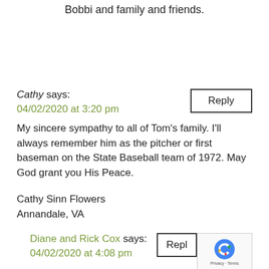My thoughts and prayers are with Bobbi and family and friends.
Reply
Cathy says:
04/02/2020 at 3:20 pm
My sincere sympathy to all of Tom's family. I'll always remember him as the pitcher or first baseman on the State Baseball team of 1972. May God grant you His Peace.
Cathy Sinn Flowers
Annandale, VA
Reply
Diane and Rick Cox says:
04/02/2020 at 4:08 pm